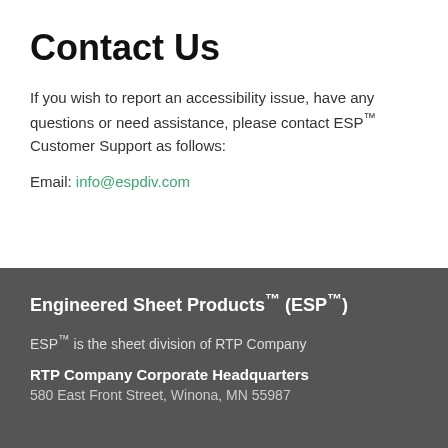Contact Us
If you wish to report an accessibility issue, have any questions or need assistance, please contact ESP™ Customer Support as follows:
Email: info@espdiv.com
Engineered Sheet Products™ (ESP™)
ESP™ is the sheet division of RTP Company
RTP Company Corporate Headquarters
580 East Front Street, Winona, MN 55987